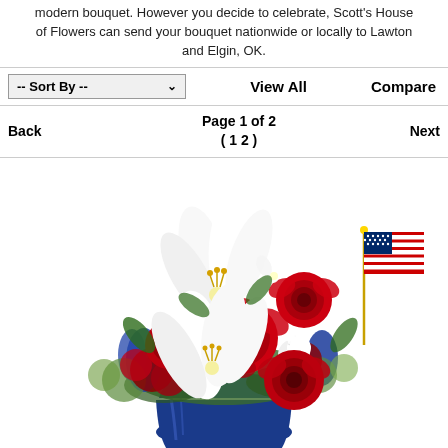modern bouquet. However you decide to celebrate, Scott's House of Flowers can send your bouquet nationwide or locally to Lawton and Elgin, OK.
-- Sort By --   View All   Compare
Back   Page 1 of 2 ( 1 2 )   Next
[Figure (photo): A patriotic flower bouquet with white lilies, red roses, white alstroemeria, blue delphinium flowers, and small red carnations arranged in a cobalt blue vase, with a small American flag tucked in the upper right.]